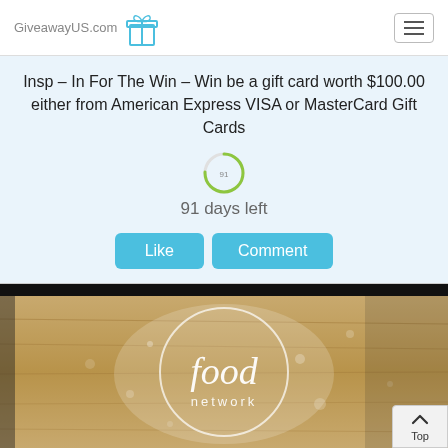GiveawayUS.com
Insp – In For The Win – Win be a gift card worth $100.00 either from American Express VISA or MasterCard Gift Cards
91 days left
[Figure (screenshot): Food Network logo on a wooden/flour-dusted background with black bar at top]
Top